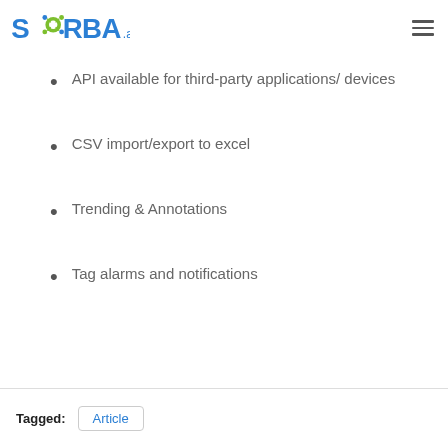SORBA.ai
API available for third-party applications/ devices
CSV import/export to excel
Trending & Annotations
Tag alarms and notifications
Tagged: Article